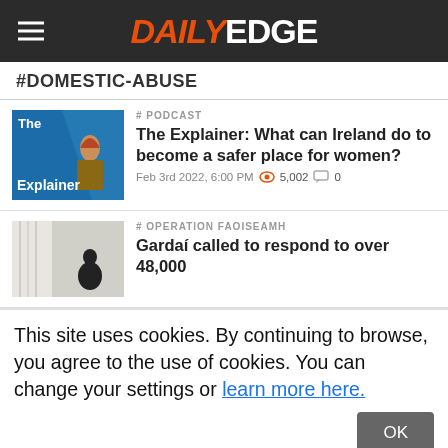DAILY EDGE
#DOMESTIC-ABUSE
# PODCAST
The Explainer: What can Ireland do to become a safer place for women?
Feb 3rd 2022, 6:00 PM  5,002  0
# OPERATION FAOISEAMH
Gardaí called to respond to over 48,000
This site uses cookies. By continuing to browse, you agree to the use of cookies. You can change your settings or learn more here.